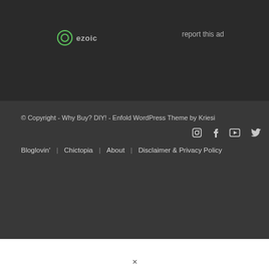[Figure (logo): Ezoic logo with green circle icon and grey text]
report this ad
© Copyright - Why Buy? DIY! - Enfold WordPress Theme by Kriesi
[Figure (infographic): Social media icons: Instagram, Facebook, YouTube, Twitter, RSS]
Bloglovin' | Chictopia | About | Disclaimer & Privacy Policy